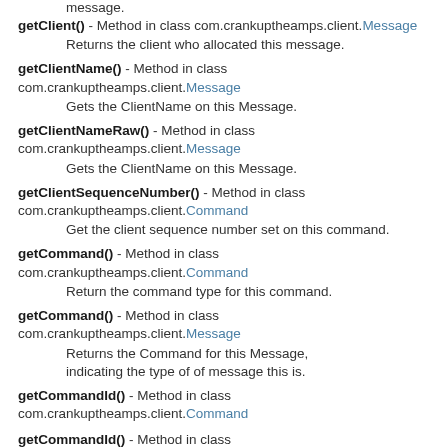message.
getClient() - Method in class com.crankuptheamps.client.Message
  Returns the client who allocated this message.
getClientName() - Method in class com.crankuptheamps.client.Message
  Gets the ClientName on this Message.
getClientNameRaw() - Method in class com.crankuptheamps.client.Message
  Gets the ClientName on this Message.
getClientSequenceNumber() - Method in class com.crankuptheamps.client.Command
  Get the client sequence number set on this command.
getCommand() - Method in class com.crankuptheamps.client.Command
  Return the command type for this command.
getCommand() - Method in class com.crankuptheamps.client.Message
  Returns the Command for this Message, indicating the type of of message this is.
getCommandId() - Method in class com.crankuptheamps.client.Command
getCommandId() - Method in class com.crankuptheamps.client.Message
  Gets the CommandId on this Message.